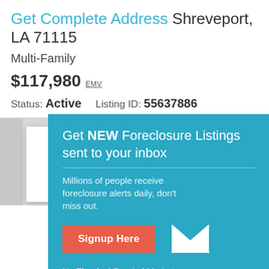Get Complete Address Shreveport, LA 71115
Multi-Family
$117,980 EMV
Status: Active   Listing ID: 55637886
[Figure (screenshot): Gray background area with white card shadow]
Get NEW Foreclosure Listings sent to your inbox
Millions of people receive foreclosure alerts daily, don't miss out.
Signup Here
No Thanks | Remind Me Later